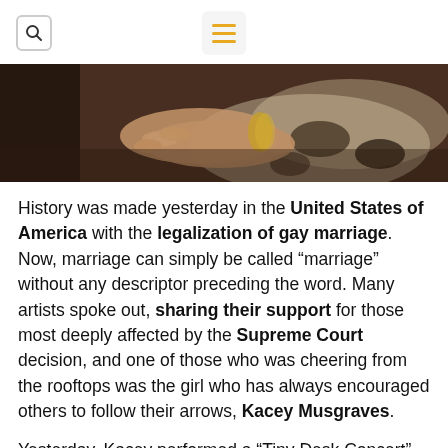[search icon] [menu icon]
[Figure (photo): Close-up photo of hands clasped together on a patterned surface, warm tones with jewelry visible on wrist]
History was made yesterday in the United States of America with the legalization of gay marriage. Now, marriage can simply be called “marriage” without any descriptor preceding the word. Many artists spoke out, sharing their support for those most deeply affected by the Supreme Court decision, and one of those who was cheering from the rooftops was the girl who has always encouraged others to follow their arrows, Kacey Musgraves.
Yesterday, Kacey performed a “Tiny Desk Concert” with NPR Music, singing four songs off her new